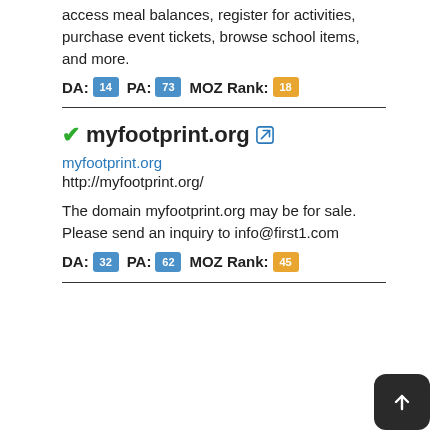access meal balances, register for activities, purchase event tickets, browse school items, and more.
DA: 14  PA: 73  MOZ Rank: 18
myfootprint.org
myfootprint.org
http://myfootprint.org/
The domain myfootprint.org may be for sale. Please send an inquiry to info@first1.com
DA: 32  PA: 62  MOZ Rank: 45